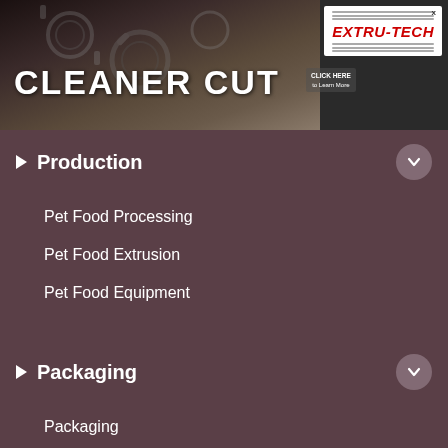[Figure (photo): Banner advertisement showing industrial machinery/cutting equipment with text 'CLEANER CUT', a 'CLICK HERE to Learn More' button, and the Extru-Tech logo on white background in top right corner.]
Production
Pet Food Processing
Pet Food Extrusion
Pet Food Equipment
Packaging
Packaging
Pet Food Labeling
Publications
Newsletters